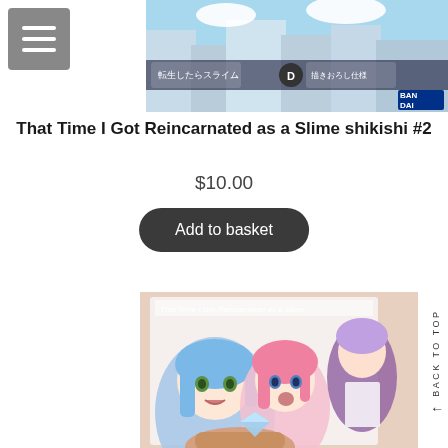[Figure (screenshot): Top navigation bar with hamburger menu icon on gray square background (left) and product image showing anime merchandise packaging with Japanese text and Bandai logo (right)]
That Time I Got Reincarnated as a Slime shikishi #2
$10.00
Add to basket
[Figure (photo): Photo of a shikishi board featuring That Time I Got Reincarnated as a Slime anime artwork with multiple female characters including one with blue hair and one with pink hair in the foreground, held by a hand]